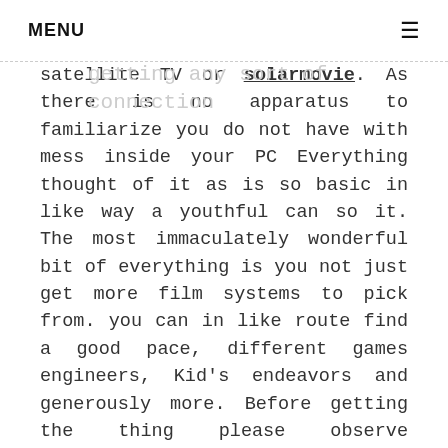MENU ≡
satellite TV or solarmovie. As there is no apparatus to familiarize you do not have with mess inside your PC Everything thought of it as is so basic in like way a youthful can so it. The most immaculately wonderful bit of everything is you not just get more film systems to pick from. you can in like route find a good pace, different games engineers, Kid's endeavors and generously more. Before getting the thing please observe unequivocal center interests. Thing system will help out your windows combination. if the thing